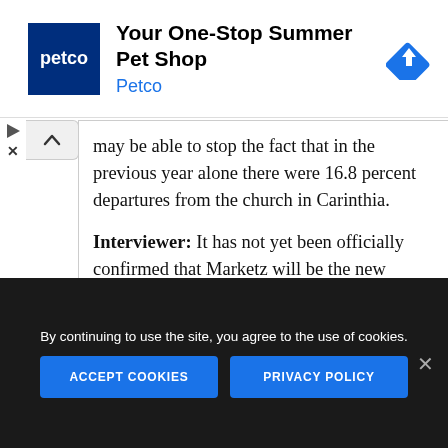[Figure (other): Petco advertisement banner: Petco logo (dark blue square with 'petco' in white), headline 'Your One-Stop Summer Pet Shop', subheadline 'Petco' in blue, blue diamond navigation arrow icon on right]
may be able to stop the fact that in the previous year alone there were 16.8 percent departures from the church in Carinthia.
Interviewer: It has not yet been officially confirmed that Marketz will be the new bishop. What makes the media so sure that this is true??
Prompers: Basically himself. He admitted to the "Kleine Zeitung" in Graz and Klagenfurt that he had
By continuing to use the site, you agree to the use of cookies.